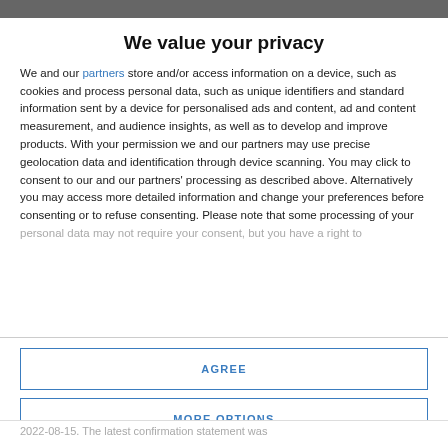We value your privacy
We and our partners store and/or access information on a device, such as cookies and process personal data, such as unique identifiers and standard information sent by a device for personalised ads and content, ad and content measurement, and audience insights, as well as to develop and improve products. With your permission we and our partners may use precise geolocation data and identification through device scanning. You may click to consent to our and our partners' processing as described above. Alternatively you may access more detailed information and change your preferences before consenting or to refuse consenting. Please note that some processing of your personal data may not require your consent, but you have a right to
AGREE
MORE OPTIONS
2022-08-15. The latest confirmation statement was